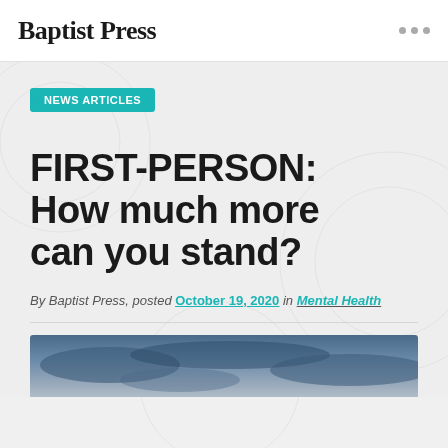Baptist Press
NEWS ARTICLES
FIRST-PERSON: How much more can you stand?
By Baptist Press, posted October 19, 2020 in Mental Health
[Figure (photo): A dark cloudy sky photograph used as article header image]